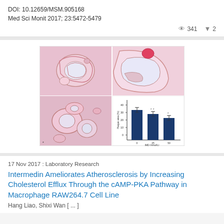DOI: 10.12659/MSM.905168
Med Sci Monit 2017; 23:5472-5479
341  2
[Figure (photo): Composite figure showing three histology slides (H&E stained cross-sections of atherosclerotic plaques, pink/magenta staining) and one bar chart with three dark blue bars showing decreasing values, with error bars and x-axis labeled with MDM doses.]
17 Nov 2017 : Laboratory Research
Intermedin Ameliorates Atherosclerosis by Increasing Cholesterol Efflux Through the cAMP-PKA Pathway in Macrophage RAW264.7 Cell Line
Hang Liao, Shixi Wan [ ... ]